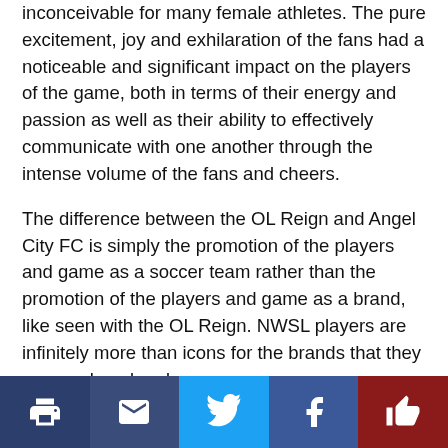inconceivable for many female athletes. The pure excitement, joy and exhilaration of the fans had a noticeable and significant impact on the players of the game, both in terms of their energy and passion as well as their ability to effectively communicate with one another through the intense volume of the fans and cheers.
The difference between the OL Reign and Angel City FC is simply the promotion of the players and game as a soccer team rather than the promotion of the players and game as a brand, like seen with the OL Reign. NWSL players are infinitely more than icons for the brands that they are employed under as